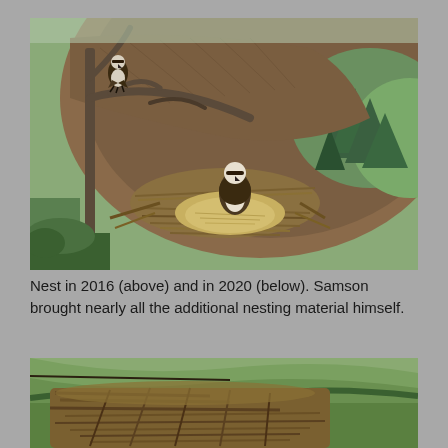[Figure (photo): Aerial wildlife camera view of an osprey nest on a dead tree in 2016. Two ospreys visible — one perched on a bare branch above, one standing in the large stick nest. Green fields and farmland visible in the background.]
Nest in 2016 (above) and in 2020 (below). Samson brought nearly all the additional nesting material himself.
[Figure (photo): Aerial wildlife camera view of an osprey nest in 2020, showing a much larger nest built up with additional sticks and nesting material. Green fields visible in the background.]